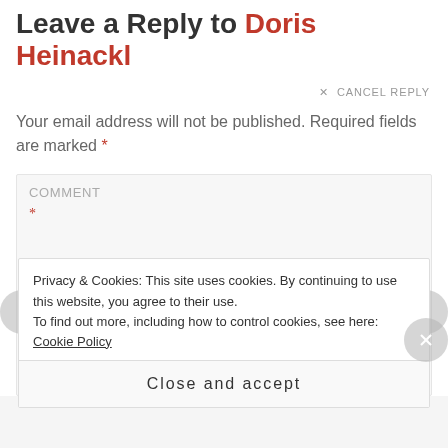Leave a Reply to Doris Heinackl
× CANCEL REPLY
Your email address will not be published. Required fields are marked *
COMMENT *
Privacy & Cookies: This site uses cookies. By continuing to use this website, you agree to their use. To find out more, including how to control cookies, see here: Cookie Policy
Close and accept